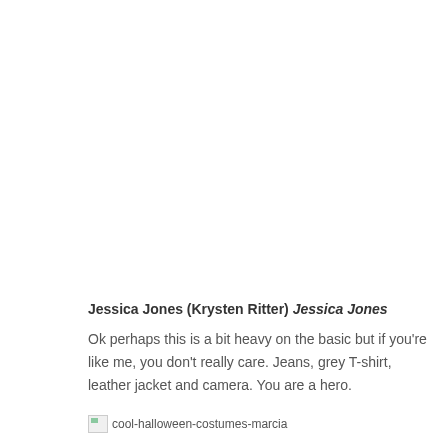Jessica Jones (Krysten Ritter) Jessica Jones
Ok perhaps this is a bit heavy on the basic but if you're like me, you don't really care. Jeans, grey T-shirt, leather jacket and camera. You are a hero.
[Figure (photo): Broken image placeholder with alt text: cool-halloween-costumes-marcia]